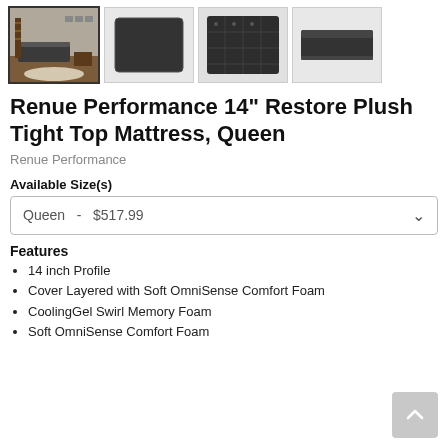[Figure (photo): Four product thumbnail images of a dark gray mattress: first shows mattress in bedroom setting, second shows top-down view, third shows close-up of quilted surface, fourth shows side profile. First thumbnail is selected with bold border.]
Renue Performance 14" Restore Plush Tight Top Mattress, Queen
Renue Performance
Available Size(s)
Queen  -  $517.99
Features
14 inch Profile
Cover Layered with Soft OmniSense Comfort Foam
CoolingGel Swirl Memory Foam
Soft OmniSense Comfort Foam